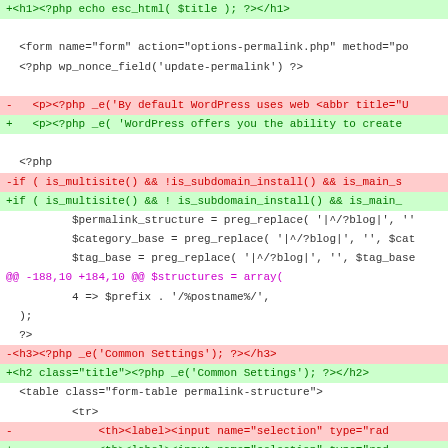[Figure (screenshot): A code diff view showing PHP/HTML source changes in a WordPress file, with green highlighted added lines (+) and red highlighted removed lines (-), plus surrounding context lines in monospace font.]